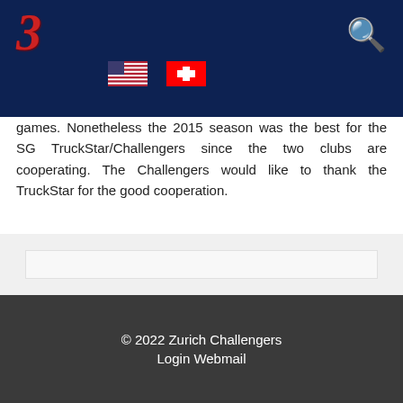Zurich Challengers navigation header with logo, US flag, Swiss flag, and search icon
games. Nonetheless the 2015 season was the best for the SG TruckStar/Challengers since the two clubs are cooperating. The Challengers would like to thank the TruckStar for the good cooperation.
Continue Reading »
© 2022 Zurich Challengers
Login Webmail